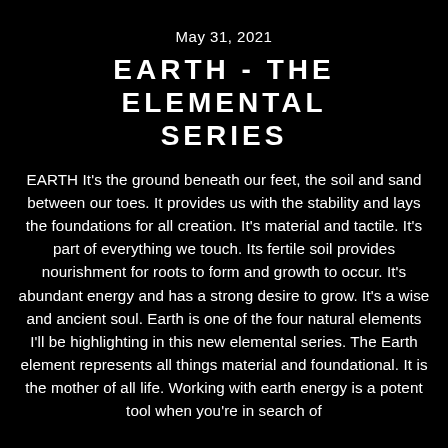May 31, 2021
EARTH - THE ELEMENTAL SERIES
EARTH It's the ground beneath our feet, the soil and sand between our toes. It provides us with the stability and lays the foundations for all creation. It's material and tactile. It's part of everything we touch. Its fertile soil provides nourishment for roots to form and growth to occur. It's abundant energy and has a strong desire to grow. It's a wise and ancient soul. Earth is one of the four natural elements I'll be highlighting in this new elemental series. The Earth element represents all things material and foundational. It is the mother of all life. Working with earth energy is a potent tool when you're in search of